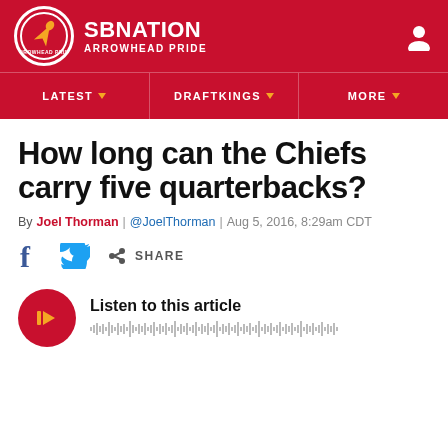SB NATION — ARROWHEAD PRIDE
LATEST | DRAFTKINGS | MORE
How long can the Chiefs carry five quarterbacks?
By Joel Thorman | @JoelThorman | Aug 5, 2016, 8:29am CDT
SHARE
Listen to this article